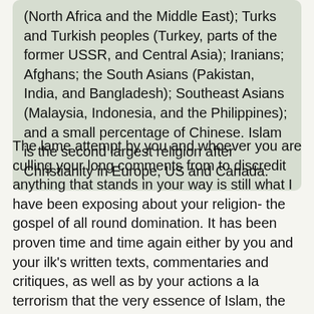(North Africa and the Middle East); Turks and Turkish peoples (Turkey, parts of the former USSR, and Central Asia); Iranians; Afghans; the South Asians (Pakistan, India, and Bangladesh); Southeast Asians (Malaysia, Indonesia, and the Philippines); and a small percentage of Chinese. Islam is the second largest religion after Christianity in Europe, US and Canada.
The lame attempt by you and whoever you are culling your long comments from to discredit anything that stands in your way is still what I have been exposing about your religion- the gospel of all round domination. It has been proven time and time again either by you and your ilk's written texts, commentaries and critiques, as well as by your actions a la terrorism that the very essence of Islam, the muslim religion, is to attack and antagonize other belief systems, most especially Christianity. Take that away and Islam looses its steam. The whole idea of submission is simple: "allow yourselves to be dominated. Offer no resistance and your life will be spared". That is it. Because I see no reason or use of you